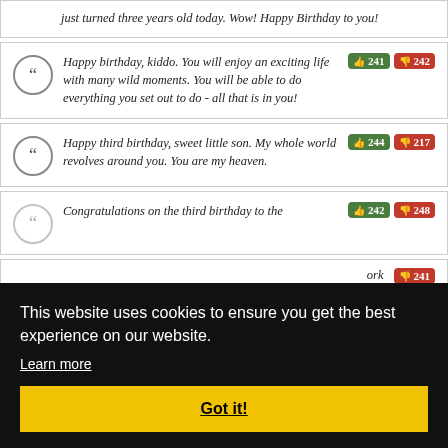just turned three years old today. Wow! Happy Birthday to you!
Happy birthday, kiddo. You will enjoy an exciting life with many wild moments. You will be able to do everything you set out to do - all that is in you! [👍241 👎242]
Happy third birthday, sweet little son. My whole world revolves around you. You are my heaven. [👍244 👎217]
Congratulations on the third birthday to the [👍242 👎248]
[👎241] ...ork
[👎232] celebrating this milestone and looking forward to all the
This website uses cookies to ensure you get the best experience on our website.
Learn more
Got it!